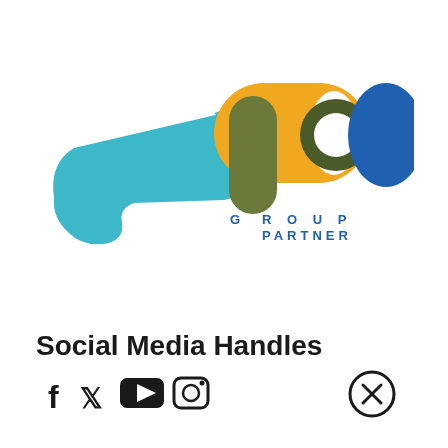[Figure (logo): AP Group Partner logo — teal arrow/hand shape pointing right, with an olive green vertical pill shape, a yellow/orange wide arch shape above, a dark olive circle, and a blue ellipse on the right. Text 'G R O U P' and 'PARTNER' in blue letters to the right.]
Social Media Handles
[Figure (infographic): Social media icons: Facebook (f), Twitter/X (bird), YouTube (play button), Instagram (camera). Also an X-in-circle icon on the right side.]